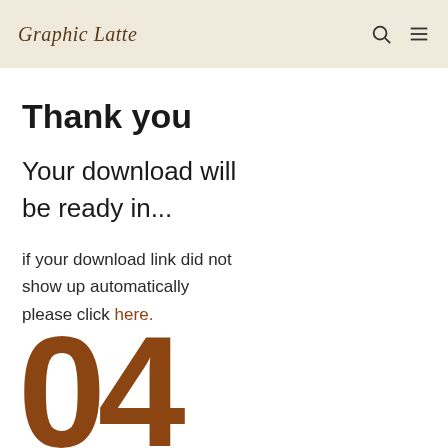Graphic Latte
Thank you
Your download will be ready in...
if your download link did not show up automatically please click here.
[Figure (other): Large countdown number '04' in brown color at the bottom of the page]